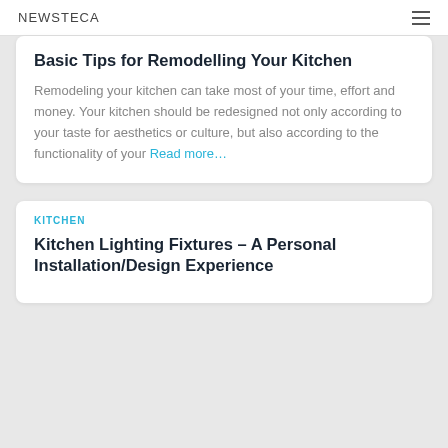NEWSTECA
Basic Tips for Remodelling Your Kitchen
Remodeling your kitchen can take most of your time, effort and money. Your kitchen should be redesigned not only according to your taste for aesthetics or culture, but also according to the functionality of your Read more…
KITCHEN
Kitchen Lighting Fixtures – A Personal Installation/Design Experience